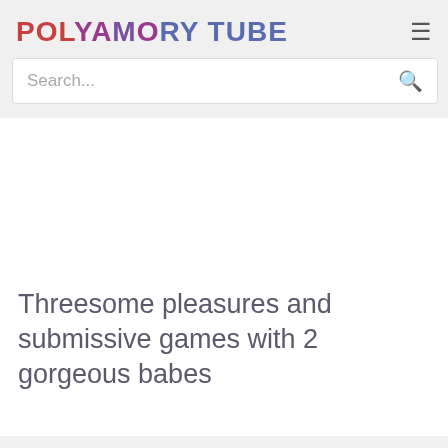[Figure (logo): Polyamory Tube website logo in colorful red, purple, and blue text]
Search...
Threesome pleasures and submissive games with 2 gorgeous babes